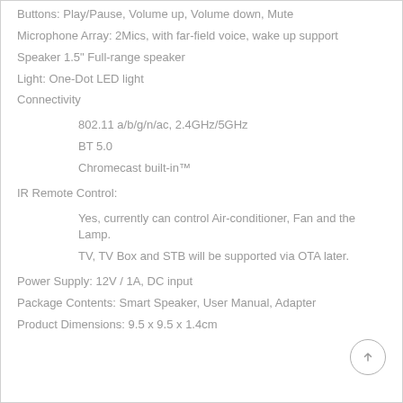Buttons: Play/Pause, Volume up, Volume down, Mute
Microphone Array: 2Mics, with far-field voice, wake up support
Speaker 1.5" Full-range speaker
Light: One-Dot LED light
Connectivity
802.11 a/b/g/n/ac, 2.4GHz/5GHz
BT 5.0
Chromecast built-in™
IR Remote Control:
Yes, currently can control Air-conditioner, Fan and the Lamp.
TV, TV Box and STB will be supported via OTA later.
Power Supply: 12V / 1A, DC input
Package Contents: Smart Speaker, User Manual, Adapter
Product Dimensions: 9.5 x 9.5 x 1.4cm